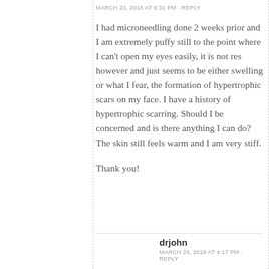MARCH 23, 2018 AT 6:31 PM · REPLY
I had microneedling done 2 weeks prior and I am extremely puffy still to the point where I can't open my eyes easily, it is not res however and just seems to be either swelling or what I fear, the formation of hypertrophic scars on my face. I have a history of hypertrophic scarring. Should I be concerned and is there anything I can do? The skin still feels warm and I am very stiff.
Thank you!
drjohn
MARCH 24, 2018 AT 4:17 PM · REPLY
Stephanie, Sounds like an inflammatory process. Scarring will only take place if it persists for a long time. Please take pics and